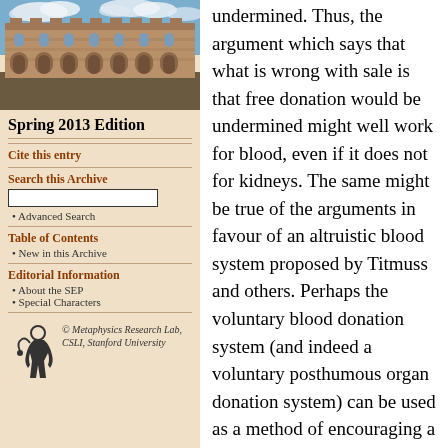[Figure (photo): Photograph of a sandstone university building with arched windows and blue sky with clouds]
Spring 2013 Edition
Cite this entry
Search this Archive
Advanced Search
Table of Contents
New in this Archive
Editorial Information
About the SEP
Special Characters
[Figure (logo): Metaphysics Research Lab, CSLI, Stanford University logo with stylized figure]
undermined. Thus, the argument which says that what is wrong with sale is that free donation would be undermined might well work for blood, even if it does not for kidneys. The same might be true of the arguments in favour of an altruistic blood system proposed by Titmuss and others. Perhaps the voluntary blood donation system (and indeed a voluntary posthumous organ donation system) can be used as a method of encouraging a valuable culture of altruism, but this is much less likely to work in the case of living organ donation (Archard 2002; Campbell 2009; Titmuss 1997).